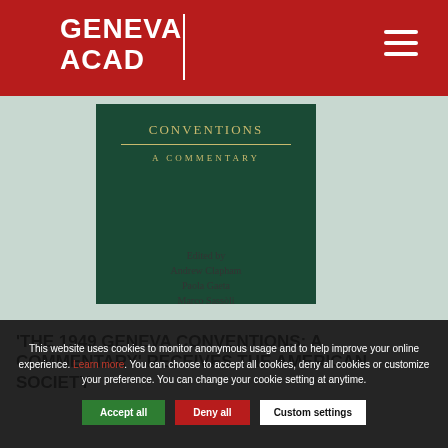GENEVA ACAD
[Figure (photo): Book cover of 'The 1949 Geneva Conventions: A Commentary', edited by Andrew Clapham, Paola Gaeta, Marco Sassòli, displayed against a light green-grey background. The cover features a dark green panel with gold lettering.]
'THE 1949 GENEVA CONVENTIONS: A COMMENTARY' RECEIVES THE AMERICAN SOCIETY
This website uses cookies to monitor anonymous usage and to help improve your online experience. Learn more. You can choose to accept all cookies, deny all cookies or customize your preference. You can change your cookie setting at anytime.